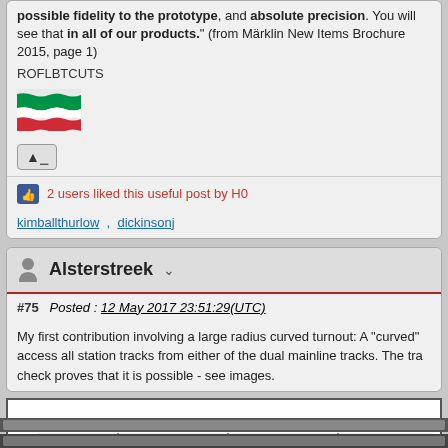possible fidelity to the prototype, and absolute precision. You will see that in all of our products." (from Märklin New Items Brochure 2015, page 1)
ROFLBTCUTS
[Figure (illustration): Italian flag emoji/image]
2 users liked this useful post by H0
kimballthurlow , dickinsonj
Alsterstreek
#75  Posted : 12 May 2017 23:51:29(UTC)
My first contribution involving a large radius curved turnout: A "curved" access all station tracks from either of the dual mainline tracks. The tra check proves that it is possible - see images.
[Figure (engineering-diagram): Track layout diagram showing curved turnouts with part numbers 24624, 24912, 24315, 24115, 24624 labeled on various track sections]